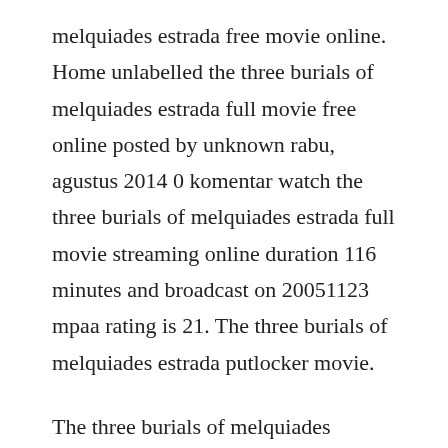melquiades estrada free movie online. Home unlabelled the three burials of melquiades estrada full movie free online posted by unknown rabu, agustus 2014 0 komentar watch the three burials of melquiades estrada full movie streaming online duration 116 minutes and broadcast on 20051123 mpaa rating is 21. The three burials of melquiades estrada putlocker movie.
The three burials of melquiades estrada 2005 directed by. Watch the three burials of melquiades estrada 2005 full. The three